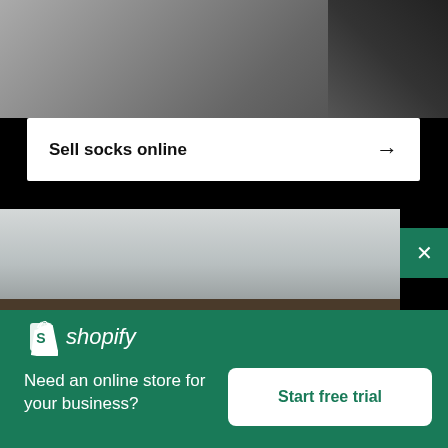[Figure (photo): Top portion of a photo showing a person's feet/legs area with socks, grey carpet and a black chair or furniture piece in background]
Sell socks online →
[Figure (photo): Close-up photo of three glass spice jars with metal lids viewed from above on a windowsill, with a blurred window background]
[Figure (logo): Shopify logo: white shopping bag icon with 'S' and italic white text 'shopify']
Need an online store for your business?
Start free trial